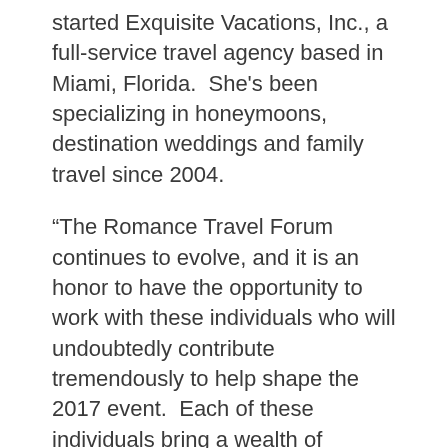started Exquisite Vacations, Inc., a full-service travel agency based in Miami, Florida.  She's been specializing in honeymoons, destination weddings and family travel since 2004.
“The Romance Travel Forum continues to evolve, and it is an honor to have the opportunity to work with these individuals who will undoubtedly contribute tremendously to help shape the 2017 event.  Each of these individuals bring a wealth of knowledge, commitment, accomplishments and unique strengths to the table, and with the influence of their expertise, we